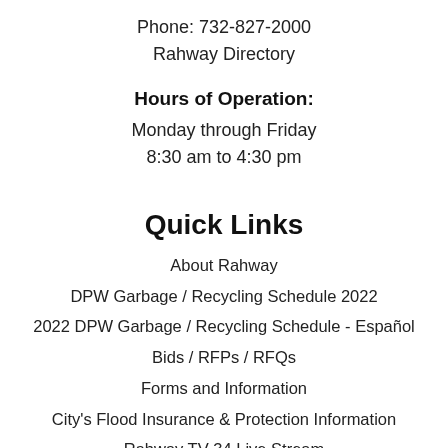Phone: 732-827-2000
Rahway Directory
Hours of Operation:
Monday through Friday
8:30 am to 4:30 pm
Quick Links
About Rahway
DPW Garbage / Recycling Schedule 2022
2022 DPW Garbage / Recycling Schedule - Español
Bids / RFPs / RFQs
Forms and Information
City's Flood Insurance & Protection Information
Rahway TV 34 Live Stream